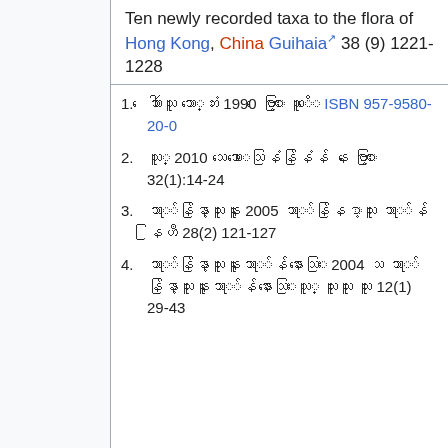Ten newly recorded taxa to the flora of Hong Kong, China Guihaia 38 (9) 1221-1228
1. ဗိုလ်ချုပ် ဦးတင်ဦး 1990 တောင်ပုံ ဗဟို ISBN 957-9580-20-0
2. ဦးမြ 2010 သုတေသနစာတမ်းများ ပ တောင်ပုံ 32(1):14-24
3. ဦးထွန်းမောင်ကြူ 2005 ဦးထွန်း မောင် ဦးထွန်းဆွေ 28(2) 121-127
4. ဦးထွန်းမောင်ကြူဦးကြည်စိုး 2004 ပ ဦးထွန်းမောင်ကြူဦးကြည်စိုးဦးမြ ဦးဦး ဦး 12(1) 29-43